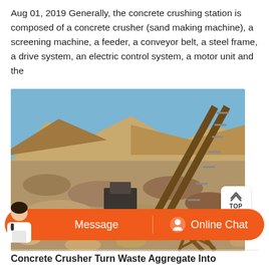Aug 01, 2019 Generally, the concrete crushing station is composed of a concrete crusher (sand making machine), a screening machine, a feeder, a conveyor belt, a steel frame, a drive system, an electric control system, a motor unit and the
[Figure (photo): Outdoor photo of a concrete crushing station showing large piles of crushed aggregate/rock material with a conveyor belt structure on the right side, set against a quarry backdrop with blue sky.]
Concrete Crusher Turn Waste Aggregate Into